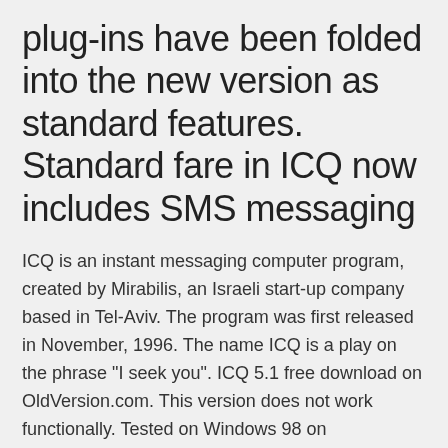plug-ins have been folded into the new version as standard features. Standard fare in ICQ now includes SMS messaging
ICQ is an instant messaging computer program, created by Mirabilis, an Israeli start-up company based in Tel-Aviv. The program was first released in November, 1996. The name ICQ is a play on the phrase "I seek you". ICQ 5.1 free download on OldVersion.com. This version does not work functionally. Tested on Windows 98 on 12/10/2015. ICQ Description. ICQ is one of the first popular instant messaging clients for computers. It was first developed by a group of Israeli developers who saw a lack for a medium to lo Download ICQ on your PC and start using high quality video chat, free messaging and free calls to any country